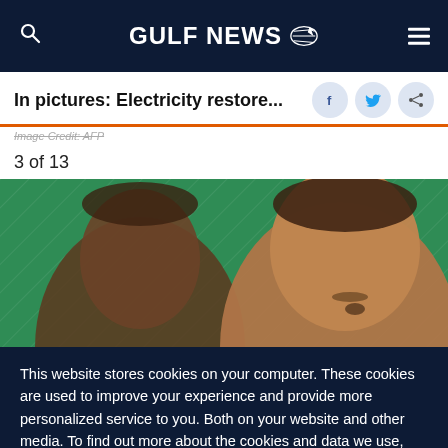GULF NEWS
In pictures: Electricity restore...
Image Credit: AFP
3 of 13
[Figure (photo): Two men in front of a green background. The man on the right is speaking. The man on the left is partially visible in the background.]
This website stores cookies on your computer. These cookies are used to improve your experience and provide more personalized service to you. Both on your website and other media. To find out more about the cookies and data we use, please check out our Privacy Policy.